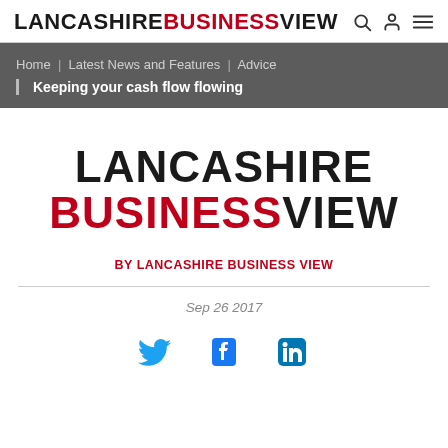LANCASHIRE BUSINESS VIEW
Home | Latest News and Features | Advice | Keeping your cash flow flowing
[Figure (logo): Lancashire Business View logo — large black and red text on white background]
BY LANCASHIRE BUSINESS VIEW
Sep 26 2017
[Figure (illustration): Social media share icons: Twitter (blue bird), Facebook (blue f), LinkedIn (blue in)]